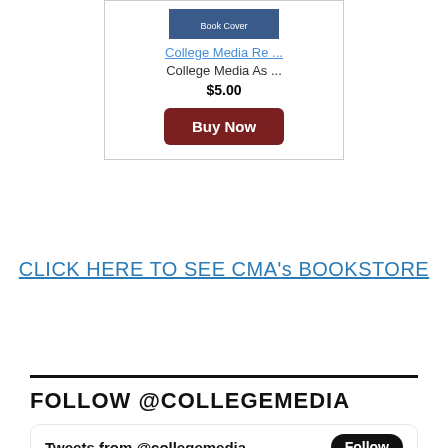[Figure (screenshot): Book product card showing a book image, link 'College Media Re ...', publisher 'College Media As ...', price '$5.00', and a dark red 'Buy Now' button]
CLICK HERE TO SEE CMA's BOOKSTORE
FOLLOW @COLLEGEMEDIA
[Figure (screenshot): Twitter widget showing 'Tweets from @collegemedia' with a Follow button, and a tweet from College Media As... @colleg... · 3h: Congratulations to all of the 393 finalists for individual Pinnacle Awards that]